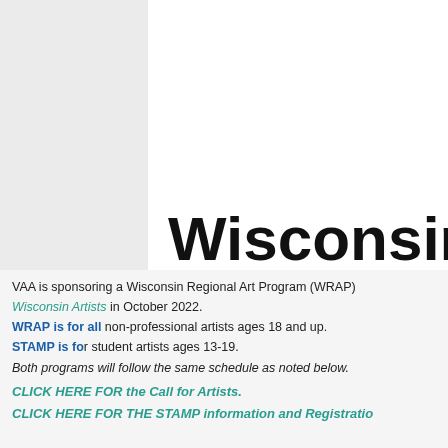[Figure (logo): Partial view of a colorful star/flag logo with purple-pink and dark colors, and large bold text 'Wisconsin R' (truncated) on white background]
Wisconsin R
VAA is sponsoring a Wisconsin Regional Art Program (WRAP) Wisconsin Artists in October 2022.
WRAP is for all non-professional artists ages 18 and up.
STAMP is for student artists ages 13-19.
Both programs will follow the same schedule as noted below.
CLICK HERE FOR the Call for Artists.
CLICK HERE FOR THE STAMP information and Registration